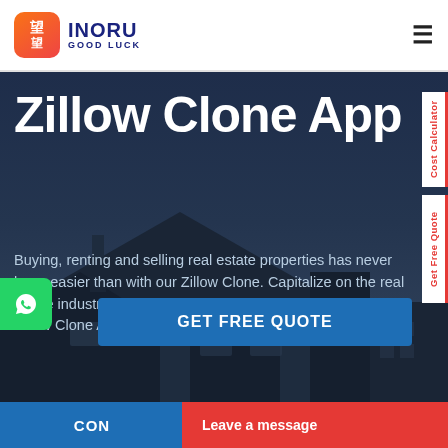INORU GOOD LUCK
Zillow Clone App
Buying, renting and selling real estate properties has never been easier than with our Zillow Clone. Capitalize on the real estate industry's profitable returns with your own cutting-edge Zillow Clone App.
GET FREE QUOTE
Cost Calculator
Get Free Quote
Leave a message